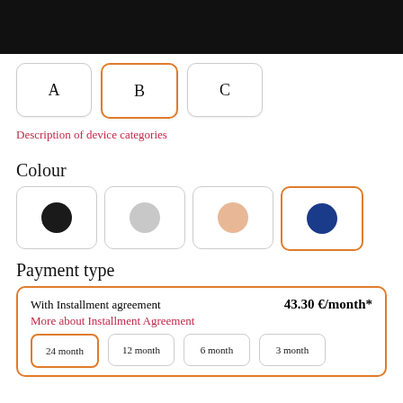A  B  C
Description of device categories
Colour
[Figure (other): Four colour swatch buttons: black (selected circle), light grey circle, peach/beige circle, navy blue circle (selected with orange border)]
Payment type
With Installment agreement   43.30 €/month*
More about Installment Agreement
24 month   12 month   6 month   3 month